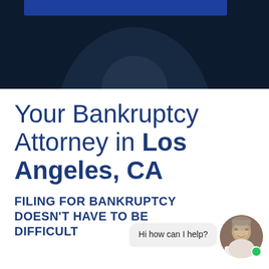[Figure (photo): Dark navy hero image with a blue bar at top and silhouette of a person in the background]
Your Bankruptcy Attorney in Los Angeles, CA
FILING FOR BANKRUPTCY DOESN'T HAVE TO BE DIFFICULT
[Figure (illustration): Chat widget with bubble saying 'Hi how can I help?' and circular avatar photo of a man with gray hair, with a green online indicator dot]